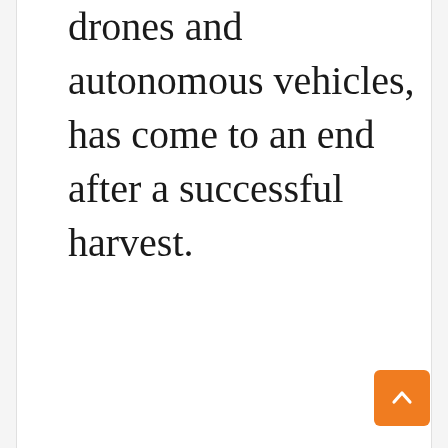drones and autonomous vehicles, has come to an end after a successful harvest.